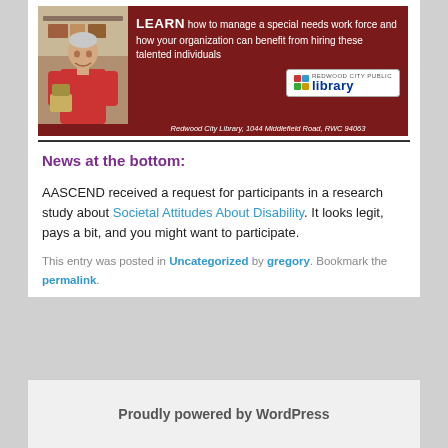[Figure (photo): Banner image showing a man in a red shirt holding items, on a dark red background with text 'LEARN how to manage a special needs work force and how your organization can benefit from hiring these talented individuals' and the Redwood City Public Library logo. Address: Redwood City Library, 1044 Middlefield Road, RWC 94063]
News at the bottom:
AASCEND received a request for participants in a research study about Societal Attitudes About Disability. It looks legit, pays a bit, and you might want to participate.
This entry was posted in Uncategorized by gregory. Bookmark the permalink.
Proudly powered by WordPress